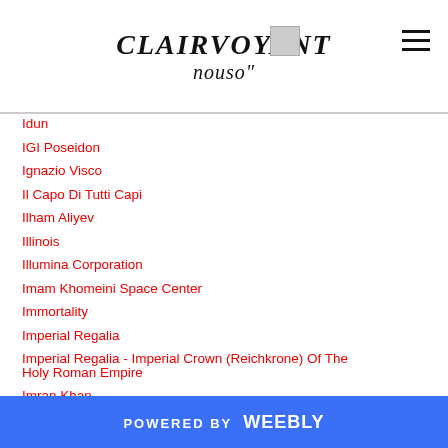CLAIRVOYANT
Idun
IGI Poseidon
Ignazio Visco
Il Capo Di Tutti Capi
Ilham Aliyev
Illinois
Illumina Corporation
Imam Khomeini Space Center
Immortality
Imperial Regalia
Imperial Regalia - Imperial Crown (Reichkrone) Of The Holy Roman Empire
Imran Khan
India
Indiana
POWERED BY weebly